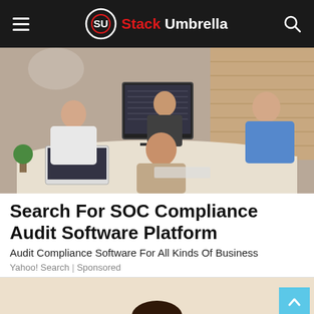Stack Umbrella
[Figure (photo): Office team working at computers and laptops around a conference table, with a brick wall in the background]
Search For SOC Compliance Audit Software Platform
Audit Compliance Software For All Kinds Of Business
Yahoo! Search | Sponsored
[Figure (photo): Partial view of a person at the bottom of the page, cropped]